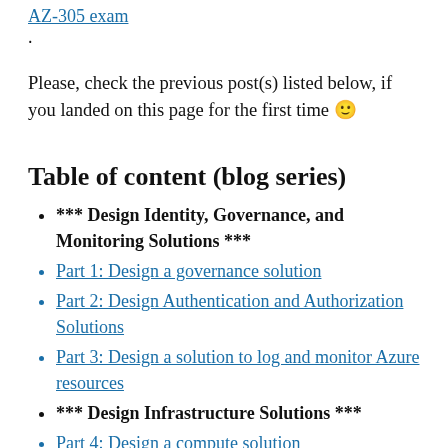AZ-305 exam.
Please, check the previous post(s) listed below, if you landed on this page for the first time 🙂
Table of content (blog series)
*** Design Identity, Governance, and Monitoring Solutions ***
Part 1: Design a governance solution
Part 2: Design Authentication and Authorization Solutions
Part 3: Design a solution to log and monitor Azure resources
*** Design Infrastructure Solutions ***
Part 4: Design a compute solution